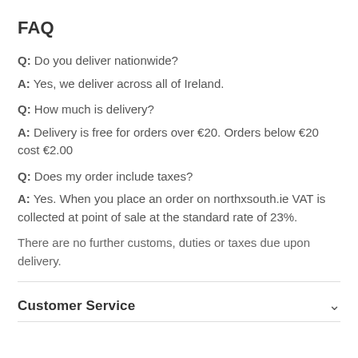FAQ
Q: Do you deliver nationwide?
A: Yes, we deliver across all of Ireland.
Q: How much is delivery?
A: Delivery is free for orders over €20. Orders below €20 cost €2.00
Q: Does my order include taxes?
A: Yes. When you place an order on northxsouth.ie VAT is collected at point of sale at the standard rate of 23%.
There are no further customs, duties or taxes due upon delivery.
Customer Service